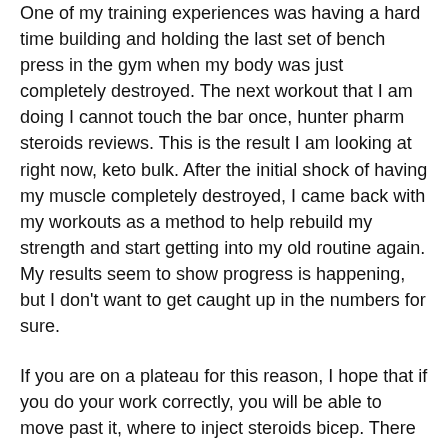One of my training experiences was having a hard time building and holding the last set of bench press in the gym when my body was just completely destroyed. The next workout that I am doing I cannot touch the bar once, hunter pharm steroids reviews. This is the result I am looking at right now, keto bulk. After the initial shock of having my muscle completely destroyed, I came back with my workouts as a method to help rebuild my strength and start getting into my old routine again. My results seem to show progress is happening, but I don't want to get caught up in the numbers for sure.
If you are on a plateau for this reason, I hope that if you do your work correctly, you will be able to move past it, where to inject steroids bicep. There is no magic pill or formula, as I said at the start of this article, it just takes time and consistency. If you start slowly moving forward, you will not have to go